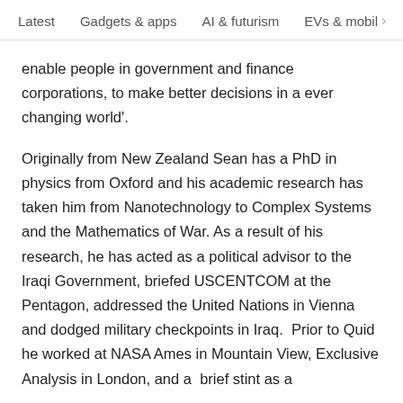Latest   Gadgets & apps   AI & futurism   EVs & mobil  >
enable people in government and finance corporations, to make better decisions in a ever changing world'.

Originally from New Zealand Sean has a PhD in physics from Oxford and his academic research has taken him from Nanotechnology to Complex Systems and the Mathematics of War. As a result of his research, he has acted as a political advisor to the Iraqi Government, briefed USCENTCOM at the Pentagon, addressed the United Nations in Vienna and dodged military checkpoints in Iraq.  Prior to Quid he worked at NASA Ames in Mountain View, Exclusive Analysis in London, and a  brief stint as a consultant at BCG in Chi...